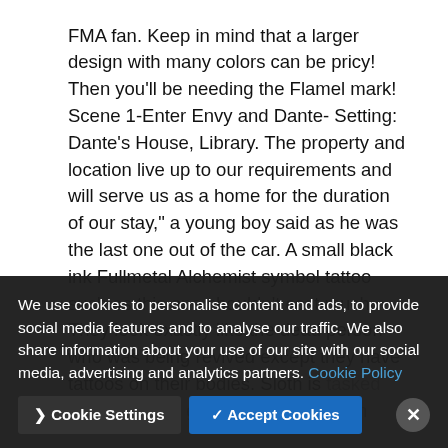FMA fan. Keep in mind that a larger design with many colors can be pricy! Then you'll be needing the Flamel mark! Scene 1-Enter Envy and Dante- Setting: Dante's House, Library. The property and location live up to our requirements and will serve us as a home for the duration of our stay," a young boy said as he was the last one out of the car. A small black ink Fullmetal Alchemist symbol tattoo such as this one shouldn't cost much. They look exactly like the dead person who was being revived except they have tattoos on their bodies. Sloth is tasked with digging a gigantic transmutation circle around the whole country. And he has the coolest attacks ever – Scar's Tattoo FMA by sparkycom on
We use cookies to personalise content and ads, to provide social media features and to analyse our traffic. We also share information about your use of our site with our social media, advertising and analytics partners. Cookie Policy
Cookie Settings  ✓ Accept Cookies  ✕